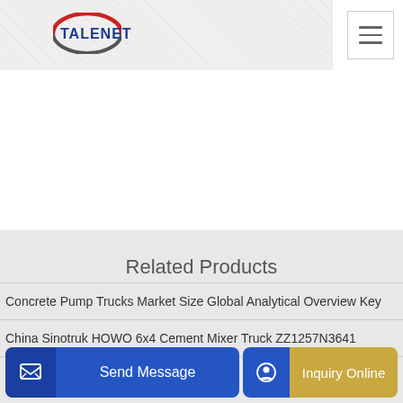TALENET
Related Products
Concrete Pump Trucks Market Size Global Analytical Overview Key
China Sinotruk HOWO 6x4 Cement Mixer Truck ZZ1257N3641
rete P...